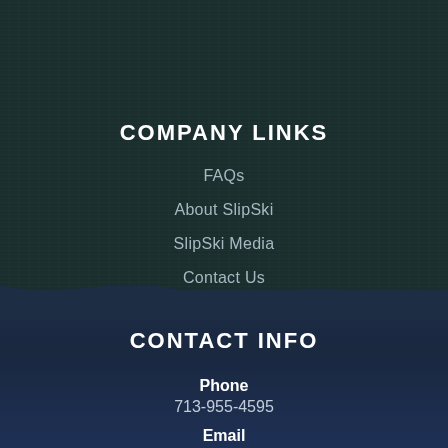COMPANY LINKS
FAQs
About SlipSki
SlipSki Media
Contact Us
CONTACT INFO
Phone
713-955-4595
Email
bejrowski@slipski.com